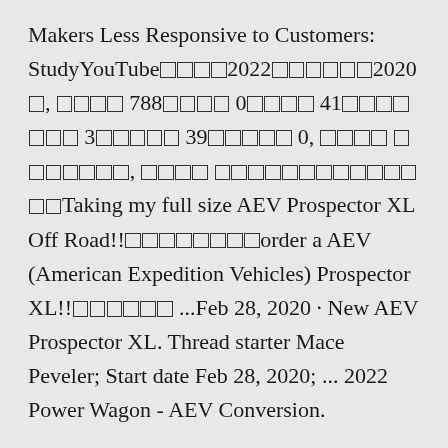Makers Less Responsive to Customers: StudyYouTube□□□□2022□□□□□□2020□, □□□□ 788□□□□ 0□□□□ 41□□□□□□□ 3□□□□□ 39□□□□□ 0, □□□□ □ □□□□□□, □□□□ □□□□□□□□□□□□□□Taking my full size AEV Prospector XL Off Road!!□□□□□□□□order a AEV (American Expedition Vehicles) Prospector XL!!□□□□□□ ...Feb 28, 2020 · New AEV Prospector XL. Thread starter Mace Peveler; Start date Feb 28, 2020; ... 2022 Power Wagon - AEV Conversion.